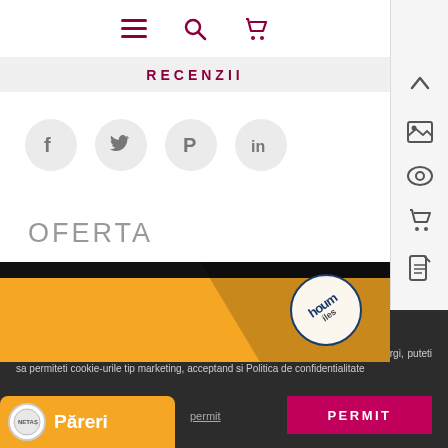Navigation icons: menu, search, cart
RECENZII
[Figure (illustration): Four social media share buttons in circular grey backgrounds: Facebook (f), Twitter (bird), Pinterest (P), LinkedIn (in)]
OFERTA
[Figure (illustration): Orange and black banner with houmiles logo circle in upper right corner, diagonal stripe overlay]
Setari cookie
pagina noastra foloseste cookie-uri pentru functionare. Pentru functionalitati mai largi, puteti sa permiteti cookie-urile tip marketing, acceptand si Politica de confidentialitate
[Figure (illustration): PERMIT button in magenta/crimson color]
[Figure (illustration): Pareri orange badge with circular logo and white text]
permit